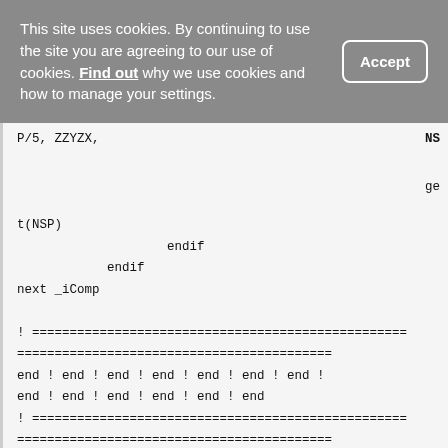This site uses cookies. By continuing to use the site you are agreeing to our use of cookies. Find out why we use cookies and how to manage your settings.
Accept
NS
P/5, ZZYZX,

ge

t(NSP)
                    endif
            endif
next _iComp

! ==================================================
============================================
end ! end ! end ! end ! end ! end ! end !
end ! end ! end ! end ! end ! end
! ==================================================
============================================